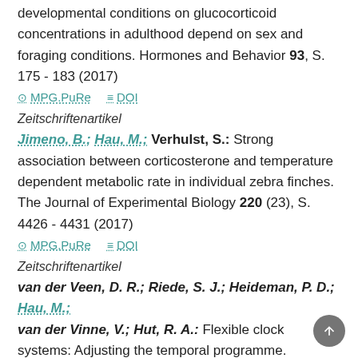developmental conditions on glucocorticoid concentrations in adulthood depend on sex and foraging conditions. Hormones and Behavior 93, S. 175 - 183 (2017)
MPG.PuRe   DOI
Zeitschriftenartikel
Jimeno, B.; Hau, M.; Verhulst, S.: Strong association between corticosterone and temperature dependent metabolic rate in individual zebra finches. The Journal of Experimental Biology 220 (23), S. 4426 - 4431 (2017)
MPG.PuRe   DOI
Zeitschriftenartikel
van der Veen, D. R.; Riede, S. J.; Heideman, P. D.; Hau, M.; van der Vinne, V.; Hut, R. A.: Flexible clock systems: Adjusting the temporal programme. Philosophical Transactions of the Royal Society of London, Series B: